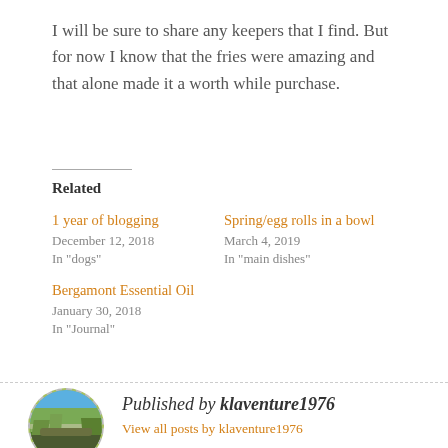I will be sure to share any keepers that I find. But for now I know that the fries were amazing and that alone made it a worth while purchase.
Related
1 year of blogging
December 12, 2018
In "dogs"
Spring/egg rolls in a bowl
March 4, 2019
In "main dishes"
Bergamont Essential Oil
January 30, 2018
In "Journal"
Published by klaventure1976
View all posts by klaventure1976